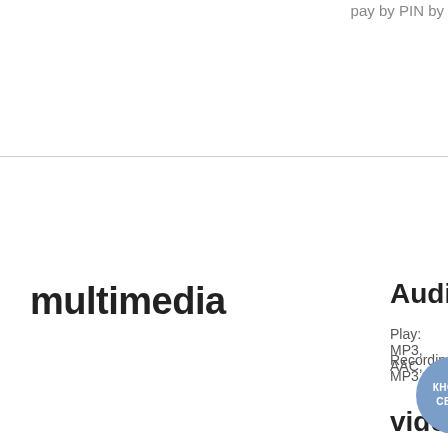pay by PIN by
multimedia
Audio
Play: MP3, AAC, …
Recording: MP3
video
Play: MKV, …
Recording: MP4